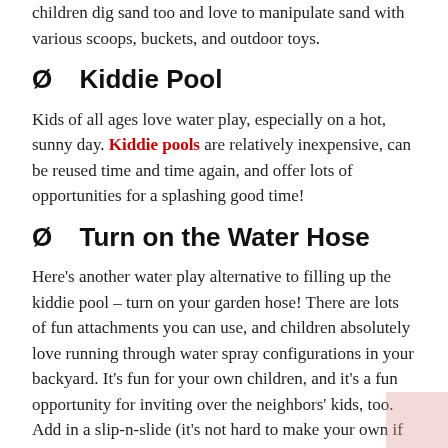children dig sand too and love to manipulate sand with various scoops, buckets, and outdoor toys.
Ø  Kiddie Pool
Kids of all ages love water play, especially on a hot, sunny day. Kiddie pools are relatively inexpensive, can be reused time and time again, and offer lots of opportunities for a splashing good time!
Ø  Turn on the Water Hose
Here's another water play alternative to filling up the kiddie pool – turn on your garden hose! There are lots of fun attachments you can use, and children absolutely love running through water spray configurations in your backyard. It's fun for your own children, and it's a fun opportunity for inviting over the neighbors' kids, too. Add in a slip-n-slide (it's not hard to make your own if you don't want to buy one), and you're ready for hours of backyard fun!
Ø  Tire Swing